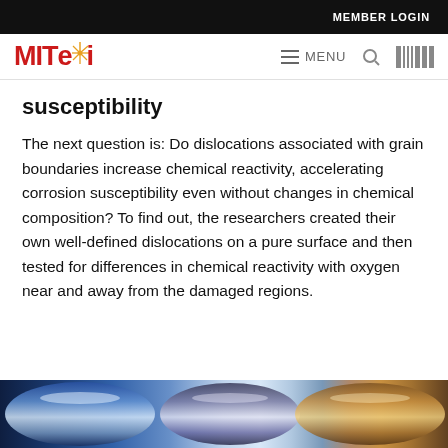MEMBER LOGIN
[Figure (logo): MITei logo with red text and spark graphic, plus navigation bar with MENU, search, and MIT logo icons]
susceptibility
The next question is: Do dislocations associated with grain boundaries increase chemical reactivity, accelerating corrosion susceptibility even without changes in chemical composition? To find out, the researchers created their own well-defined dislocations on a pure surface and then tested for differences in chemical reactivity with oxygen near and away from the damaged regions.
[Figure (photo): Close-up photograph of cylindrical metallic scientific equipment with blue, silver, and brown/copper tones]